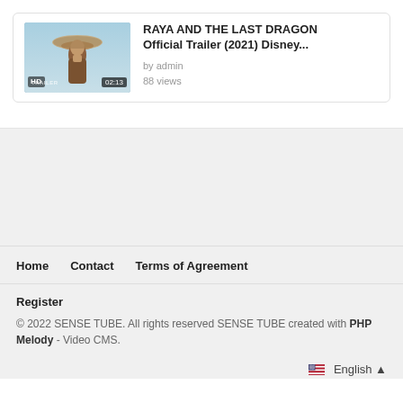[Figure (screenshot): Video thumbnail for Raya and the Last Dragon trailer showing a woman in a conical hat with HD badge and 02:13 duration overlay]
RAYA AND THE LAST DRAGON Official Trailer (2021) Disney...
by admin
88 views
Home   Contact   Terms of Agreement
Register
© 2022 SENSE TUBE. All rights reserved SENSE TUBE created with PHP Melody - Video CMS.
English ▲